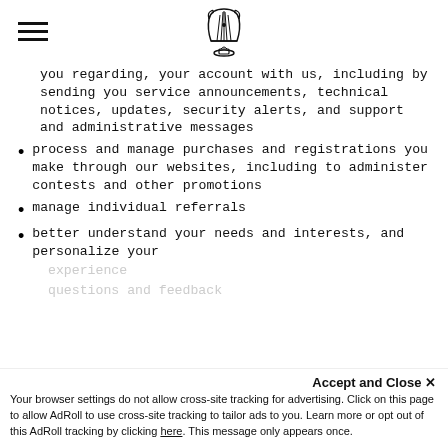[Logo: lyre/harp symbol]
you regarding, your account with us, including by sending you service announcements, technical notices, updates, security alerts, and support and administrative messages
process and manage purchases and registrations you make through our websites, including to administer contests and other promotions
manage individual referrals
better understand your needs and interests, and personalize your experience
questions and feedback
Accept and Close ×
Your browser settings do not allow cross-site tracking for advertising. Click on this page to allow AdRoll to use cross-site tracking to tailor ads to you. Learn more or opt out of this AdRoll tracking by clicking here. This message only appears once.